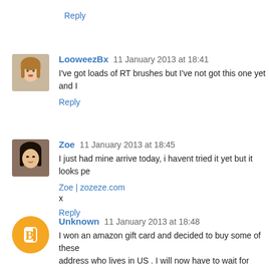Reply
LooweezBx  11 January 2013 at 18:41
I've got loads of RT brushes but I've not got this one yet and I
Reply
Zoe  11 January 2013 at 18:45
I just had mine arrive today, i havent tried it yet but it looks pe
Zoe | zozeze.com
x
Reply
Unknown  11 January 2013 at 18:48
I won an amazon gift card and decided to buy some of these address who lives in US . I will now have to wait for anothe hands and start using them. :( Gosh such a longggggggggggggg